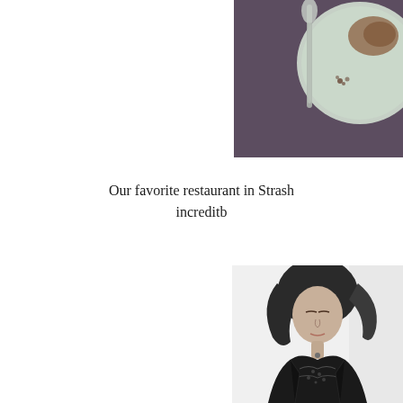[Figure (photo): Top-down view of a plate with food and a spoon on a dark purple/gray tablecloth, partially cropped on the right side of the page]
Our favorite restaurant in Strash incredible
[Figure (photo): Black and white photo of a young woman with dark hair looking down, wearing a patterned top, partially cropped on the right side of the page]